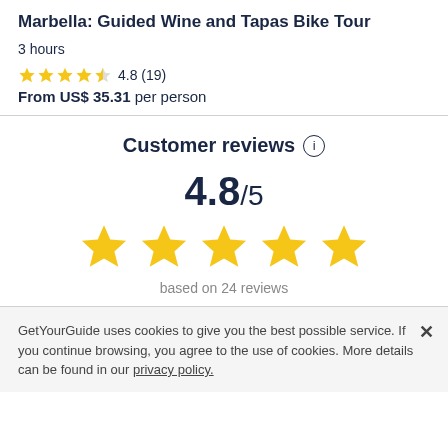Marbella: Guided Wine and Tapas Bike Tour
3 hours
4.8 (19)
From US$ 35.31 per person
Customer reviews
4.8/5
based on 24 reviews
GetYourGuide uses cookies to give you the best possible service. If you continue browsing, you agree to the use of cookies. More details can be found in our privacy policy.